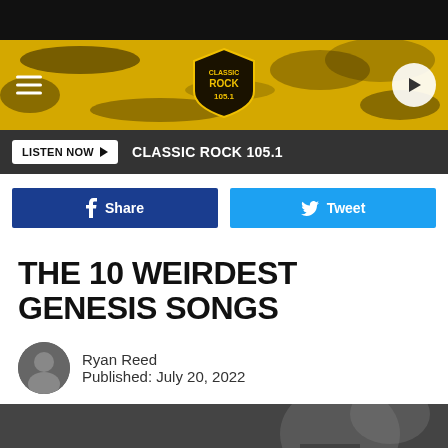[Figure (screenshot): Black top bar]
[Figure (logo): Classic Rock 105.1 yellow banner header with hamburger menu, logo shield, and play button]
LISTEN NOW ▶   CLASSIC ROCK 105.1
f Share
Tweet
THE 10 WEIRDEST GENESIS SONGS
Ryan Reed
Published: July 20, 2022
[Figure (photo): Partial black and white photo of a person, bottom of article page]